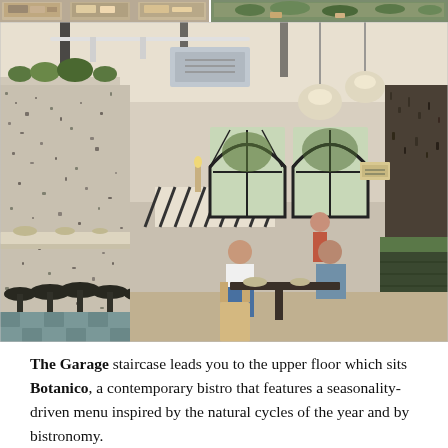[Figure (photo): Top strip of small restaurant/cafe interior thumbnail photos]
[Figure (photo): Interior of Botanico restaurant at The Garage, showing diners seated at tables, terrazzo-patterned walls, arched black-framed windows, pendant lights, and a bar counter with stools on the left.]
The Garage staircase leads you to the upper floor which sits Botanico, a contemporary bistro that features a seasonality-driven menu inspired by the natural cycles of the year and by bistronomy.